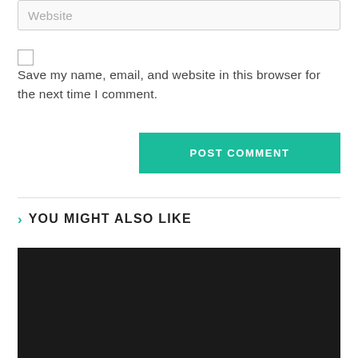website
Save my name, email, and website in this browser for the next time I comment.
POST COMMENT
You Might Also Like
[Figure (photo): Dark/black background image placeholder]